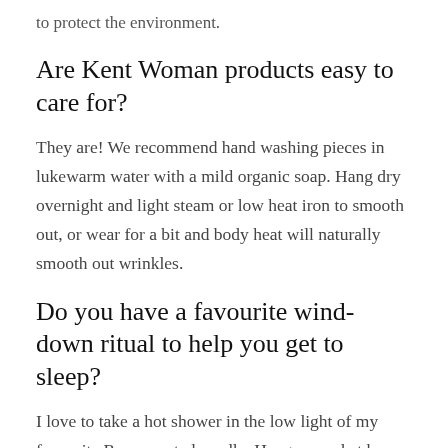to protect the environment.
Are Kent Woman products easy to care for?
They are! We recommend hand washing pieces in lukewarm water with a mild organic soap. Hang dry overnight and light steam or low heat iron to smooth out, or wear for a bit and body heat will naturally smooth out wrinkles.
Do you have a favourite wind-down ritual to help you get to sleep?
I love to take a hot shower in the low light of my favourite Rose scented candle. Hang around at home in a Kent Woman Zam Silk Robe, read a book and set an intention for the next day. I try to get as cosy and